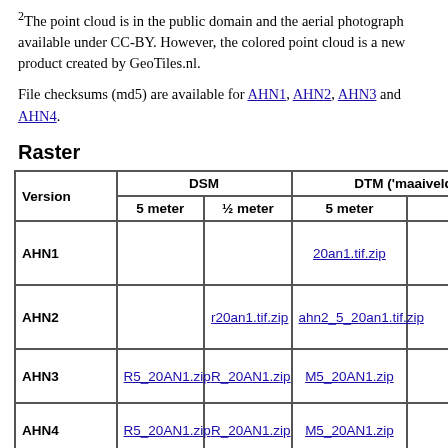2The point cloud is in the public domain and the aerial photograph available under CC-BY. However, the colored point cloud is a new product created by GeoTiles.nl.
File checksums (md5) are available for AHN1, AHN2, AHN3 and AHN4.
Raster
| Version | DSM 5 meter | DSM ½ meter | DTM ('maaiveld') 5 meter | DTM ('maaiveld') ½ m |
| --- | --- | --- | --- | --- |
| AHN1 |  |  | 20an1.tif.zip |  |
| AHN2 |  | r20an1.tif.zip | ahn2_5_20an1.tif.zip | i20an |
| AHN3 | R5_20AN1.zip | R_20AN1.zip | M5_20AN1.zip | M_20 |
| AHN4 | R5_20AN1.zip | R_20AN1.zip | M5_20AN1.zip | M_20 |